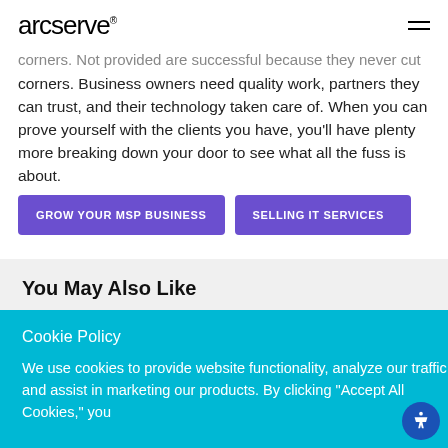arcserve
corners. Business owners need quality work, partners they can trust, and their technology taken care of. When you can prove yourself with the clients you have, you'll have plenty more breaking down your door to see what all the fuss is about.
GROW YOUR MSP BUSINESS
SELLING IT SERVICES
You May Also Like
Cookie Policy
We use cookies to provide website functionality, analyze our traffic, and assist in marketing our products. By clicking "Accept All Cookies," you